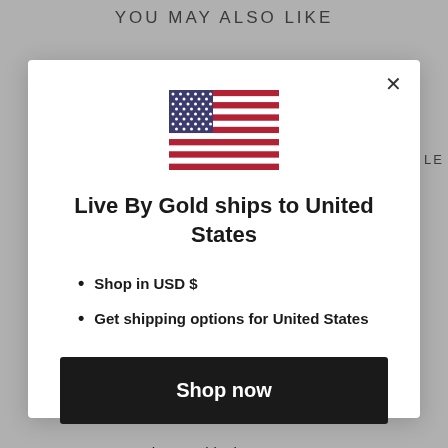YOU MAY ALSO LIKE
[Figure (illustration): US flag emoji/icon used as a country indicator]
Live By Gold ships to United States
Shop in USD $
Get shipping options for United States
Shop now
Change shipping country